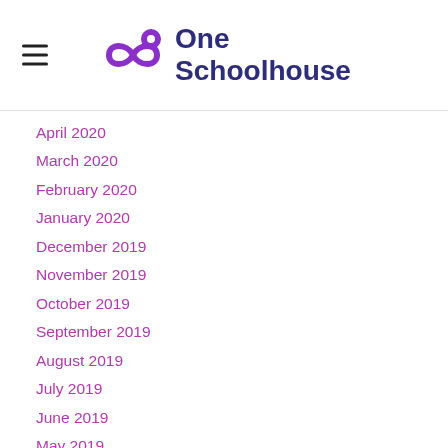One Schoolhouse
April 2020
March 2020
February 2020
January 2020
December 2019
November 2019
October 2019
September 2019
August 2019
July 2019
June 2019
May 2019
April 2019
March 2019
February 2019
January 2019
December 2018
November 2018
October 2018
September 2018